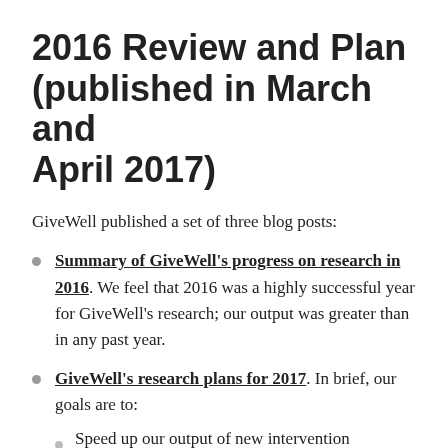2016 Review and Plan (published in March and April 2017)
GiveWell published a set of three blog posts:
Summary of GiveWell's progress on research in 2016. We feel that 2016 was a highly successful year for GiveWell's research; our output was greater than in any past year.
GiveWell's research plans for 2017. In brief, our goals are to:
Speed up our output of new intervention assessments.
Increase the number of organizations we're...